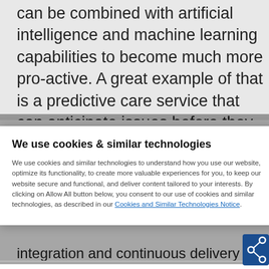can be combined with artificial intelligence and machine learning capabilities to become much more pro-active. A great example of that is a predictive care service that can anticipate issues before they become service-affecting. Operational tasks such as network inventory and firmware
We use cookies & similar technologies
We use cookies and similar technologies to understand how you use our website, optimize its functionality, to create more valuable experiences for you, to keep our website secure and functional, and deliver content tailored to your interests. By clicking on Allow All button below, you consent to our use of cookies and similar technologies, as described in our Cookies and Similar Technologies Notice.
Manage preferences
Accept all
integration and continuous delivery (CI/CD). It is an industry established fact that DevOps significantly reduces upgrade time, feature availability to operators, time to fix bugs, etc. As an example, with a single modular SDAN controller, the time from software general availability to the operator's